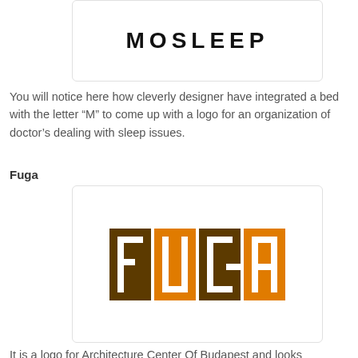[Figure (logo): MOSLEEP logo — bold uppercase spaced lettering in black on white background, inside a light-bordered rounded box]
You will notice here how cleverly designer have integrated a bed with the letter “M” to come up with a logo for an organization of doctor’s dealing with sleep issues.
Fuga
[Figure (logo): Fuga logo — blocky square letters F, U, G, A alternating between dark brown and orange squares with white negative-space letterforms, on a white background inside a light-bordered rounded box]
It is a logo for Architecture Center Of Budapest and looks